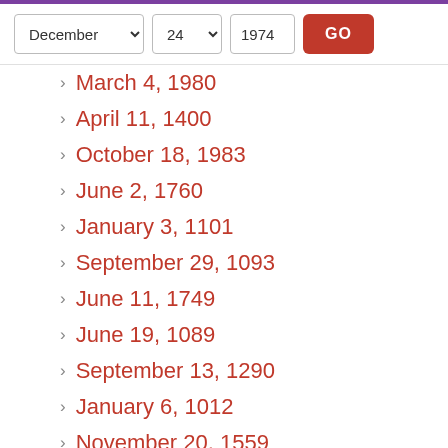December 24 1974 GO
March 4, 1980
April 11, 1400
October 18, 1983
June 2, 1760
January 3, 1101
September 29, 1093
June 11, 1749
June 19, 1089
September 13, 1290
January 6, 1012
November 20, 1559
November 29, 1997
June 22, 1301